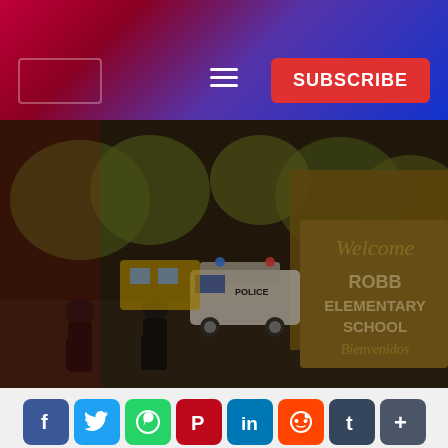Conservative FWD
[Figure (photo): Police officers standing outside Robb Elementary School in Uvalde, Texas. A sign reads 'Welcome ROBB ELEMENTARY SCHOOL Bienvenidos'. Police vehicles visible in background with autumn trees.]
REPORT: TEXAS SHOOTER BARRICADED HIMSELF FOR 40
[Figure (infographic): Social media share buttons row: Facebook, Twitter, WhatsApp, Pinterest, LinkedIn, Reddit, Tumblr, and More (+)]